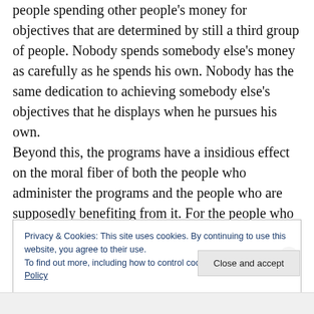people spending other people's money for objectives that are determined by still a third group of people. Nobody spends somebody else's money as carefully as he spends his own. Nobody has the same dedication to achieving somebody else's objectives that he displays when he pursues his own.
Beyond this, the programs have a insidious effect on the moral fiber of both the people who administer the programs and the people who are supposedly benefiting from it. For the people who administer it, it instills in them a feeling of almost Godlike power. For the people who are
Privacy & Cookies: This site uses cookies. By continuing to use this website, you agree to their use.
To find out more, including how to control cookies, see here: Cookie Policy
Close and accept